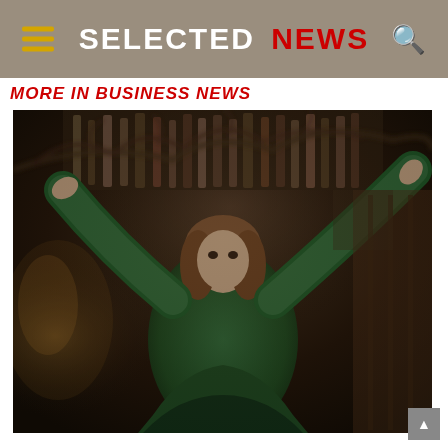SELECTED NEWS
MORE IN BUSINESS NEWS
[Figure (photo): Young woman in dark green long-sleeve sweater, arms raised, standing in a dimly lit bar or restaurant interior with warm lighting and bottles in background]
▲